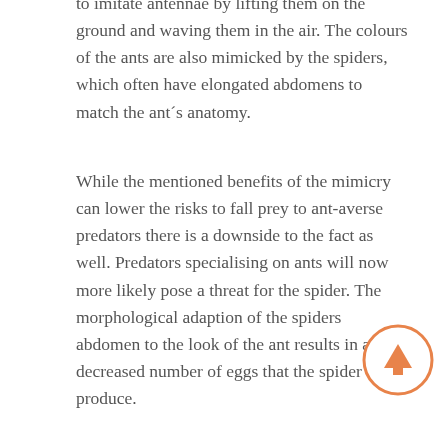to imitate antennae by lifting them on the ground and waving them in the air. The colours of the ants are also mimicked by the spiders, which often have elongated abdomens to match the ant's anatomy.
While the mentioned benefits of the mimicry can lower the risks to fall prey to ant-averse predators there is a downside to the fact as well. Predators specialising on ants will now more likely pose a threat for the spider. The morphological adaption of the spiders abdomen to the look of the ant results in a decreased number of eggs that the spider can produce.
[Figure (other): Orange circular scroll-to-top button with an upward arrow icon]